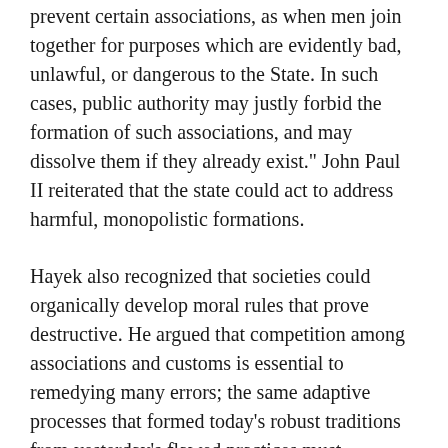prevent certain associations, as when men join together for purposes which are evidently bad, unlawful, or dangerous to the State. In such cases, public authority may justly forbid the formation of such associations, and may dissolve them if they already exist." John Paul II reiterated that the state could act to address harmful, monopolistic formations.
Hayek also recognized that societies could organically develop moral rules that prove destructive. He argued that competition among associations and customs is essential to remedying many errors; the same adaptive processes that formed today's robust traditions from yesterday's flawed practices must continue, so that today's mistakes evolve into tomorrow's successes. In his essay "Why I am Not a Conservative," he explains the risks of reflexively deferring to established ways. To Hayek, while conservatism wisely stands against drastic change, "by its very nature it cannot offer an alternative to the direction